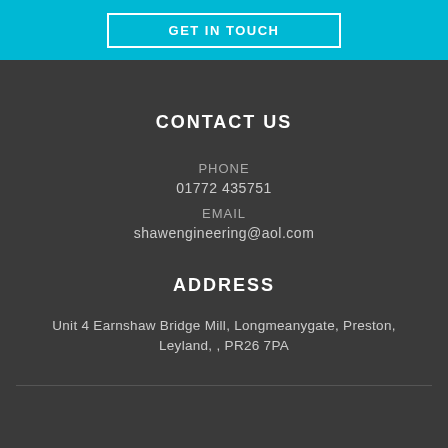GET IN TOUCH
CONTACT US
PHONE
01772 435751
EMAIL
shawengineering@aol.com
ADDRESS
Unit 4 Earnshaw Bridge Mill, Longmeanygate, Preston, Leyland, , PR26 7PA